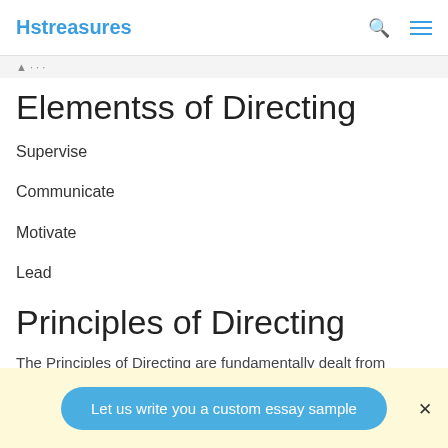Hstreasures
Elementss of Directing
Supervise
Communicate
Motivate
Lead
Principles of Directing
The Principles of Directing are fundamentally dealt from
Let us write you a custom essay sample